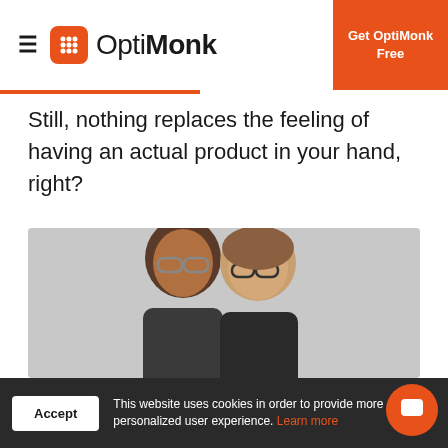OptiMonk — Get OptiMonk Free
Still, nothing replaces the feeling of having an actual product in your hand, right?
Enter the essential value proposition of Warby Parker and the first of its kind in any category: the Home Try-On program.
[Figure (photo): Two people wearing glasses, photo bottom portion visible]
This website uses cookies in order to provide more personalized user experience. Learn more